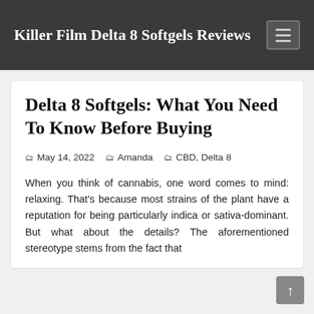Killer Film Delta 8 Softgels Reviews
Delta 8 Softgels: What You Need To Know Before Buying
May 14, 2022  Amanda  CBD, Delta 8
When you think of cannabis, one word comes to mind: relaxing. That's because most strains of the plant have a reputation for being particularly indica or sativa-dominant. But what about the details? The aforementioned stereotype stems from the fact that